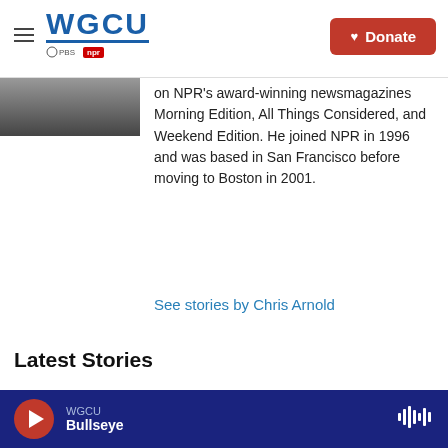WGCU PBS NPR — Donate
[Figure (photo): Partial photo of a person, cropped at top of page]
on NPR's award-winning newsmagazines Morning Edition, All Things Considered, and Weekend Edition. He joined NPR in 1996 and was based in San Francisco before moving to Boston in 2001.
See stories by Chris Arnold
Latest Stories
WGCU Bullseye